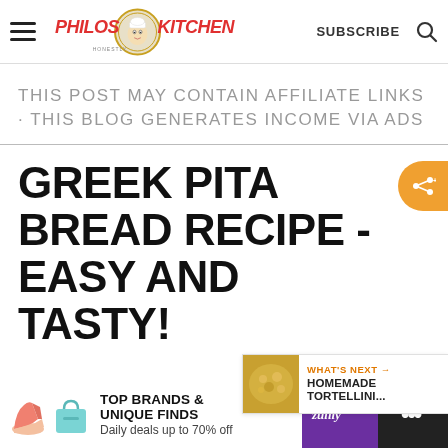Philos Kitchen — SUBSCRIBE (search icon)
THIS POST MAY CONTAIN AFFILIATE LINKS · THIS BLOG GENERATES INCOME VIA ADS
GREEK PITA BREAD RECIPE - EASY AND TASTY!
WHAT'S NEXT → HOMEMADE TORTELLINI...
TOP BRANDS & UNIQUE FINDS — Daily deals up to 70% off